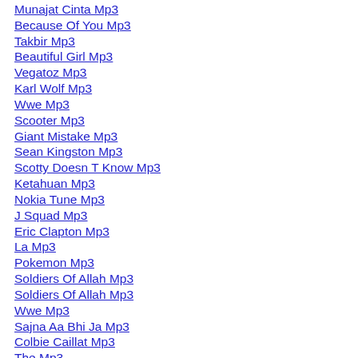Munajat Cinta Mp3
Because Of You Mp3
Takbir Mp3
Beautiful Girl Mp3
Vegatoz Mp3
Karl Wolf Mp3
Wwe Mp3
Scooter Mp3
Giant Mistake Mp3
Sean Kingston Mp3
Scotty Doesn T Know Mp3
Ketahuan Mp3
Nokia Tune Mp3
J Squad Mp3
Eric Clapton Mp3
La Mp3
Pokemon Mp3
Soldiers Of Allah Mp3
Soldiers Of Allah Mp3
Wwe Mp3
Sajna Aa Bhi Ja Mp3
Colbie Caillat Mp3
The Mp3
System Of A Down Mp3
Champions League Mp3
Rich Blood Mp3